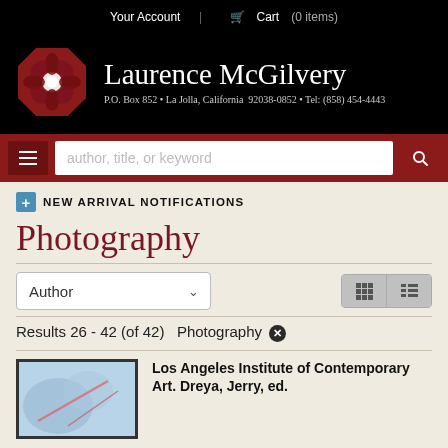Your Account  |  Cart (0 items)
[Figure (logo): Laurence McGilvery bookstore logo: red geometric flower/octagon shape, with brand name and address]
author, title, or keyword
NEW ARRIVAL NOTIFICATIONS
Photography
Author
Results 26 - 42 (of 42)  Photography ✕
Los Angeles Institute of Contemporary Art. Dreya, Jerry, ed.